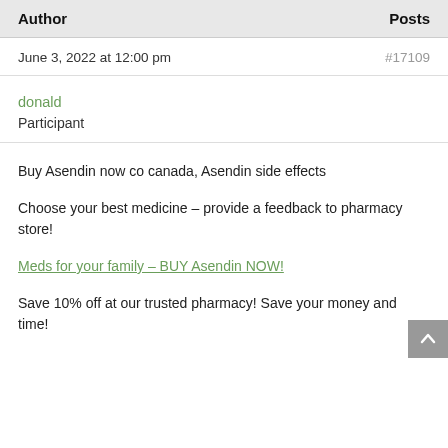| Author | Posts |
| --- | --- |
June 3, 2022 at 12:00 pm   #17109
donald
Participant
Buy Asendin now co canada, Asendin side effects
Choose your best medicine – provide a feedback to pharmacy store!
Meds for your family – BUY Asendin NOW!
Save 10% off at our trusted pharmacy! Save your money and time!